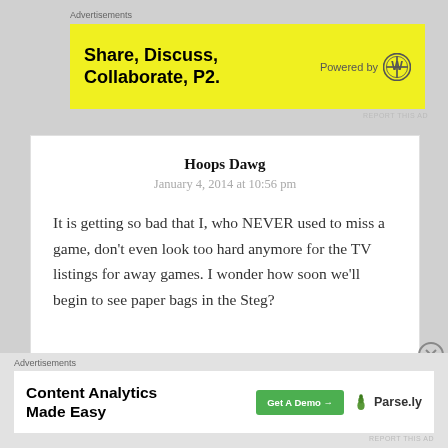Advertisements
[Figure (other): Yellow advertisement banner: 'Share, Discuss, Collaborate, P2.' Powered by WordPress logo]
REPORT THIS AD
Hoops Dawg
January 4, 2014 at 10:56 pm
It is getting so bad that I, who NEVER used to miss a game, don't even look too hard anymore for the TV listings for away games. I wonder how soon we'll begin to see paper bags in the Steg?
Advertisements
[Figure (other): White advertisement banner: 'Content Analytics Made Easy' with Get A Demo button and Parse.ly logo]
REPORT THIS AD